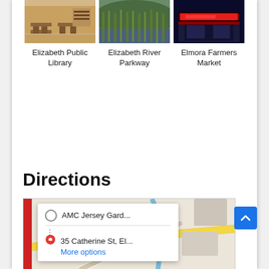[Figure (photo): Photo of Elizabeth Public Library interior with tables and chairs]
Elizabeth Public Library
[Figure (photo): Photo of Elizabeth River Parkway with green reeds and water]
Elizabeth River Parkway
[Figure (photo): Photo of Elmora Farmers Market storefront with red neon sign at night]
Elmora Farmers Market
Directions
[Figure (map): Google Maps interface showing directions from AMC Jersey Gard... to 35 Catherine St, El... with a map of North Ave area and a directions popup with More options link]